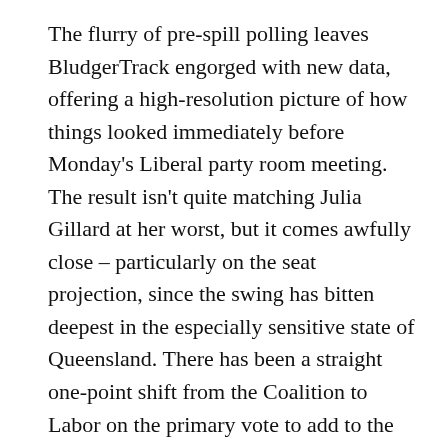The flurry of pre-spill polling leaves BludgerTrack engorged with new data, offering a high-resolution picture of how things looked immediately before Monday's Liberal party room meeting. The result isn't quite matching Julia Gillard at her worst, but it comes awfully close – particularly on the seat projection, since the swing has bitten deepest in the especially sensitive state of Queensland. There has been a straight one-point shift from the Coalition to Labor on the primary vote to add to the two-point shift recorded last week, with other parties remaining stable. Labor is up four on the seat projection since last week, courtesy of gains in New South Wales, Victoria, Queensland and South Australia.